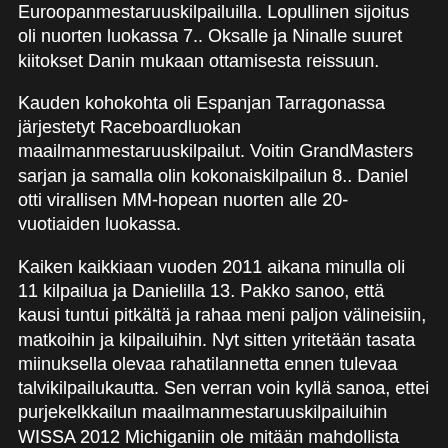Euroopanmestaruuskilpailuilla. Lopullinen sijoitus oli nuorten luokassa 7.. Oksalle ja Ninalle suuret kiitokset Danin mukaan ottamisesta reissuun.
Kauden kohokohta oli Espanjan Tarragonassa järjestetyt Raceboardluokan maailmanmestaruuskilpailut. Voitin GrandMasters sarjan ja samalla olin kokonaiskilpailun 8.. Daniel otti virallisen MM-hopean nuorten alle 20-vuotiaiden luokassa.
Kaiken kaikkiaan vuoden 2011 aikana minulla oli 11 kilpailua ja Danielilla 13. Pakko sanoo, että kausi tuntui pitkältä ja rahaa meni paljon välineisiin, matkoihin ja kilpailuihin. Nyt sitten yritetään tasata miinuksella olevaa rahatilannetta ennen tulevaa talvikilpailukautta. Sen verran voin kyllä sanoa, ettei purjekelkkailun maailmanmestaruuskilpailuihin WISSA 2012 Michiganiin ole mitään mahdollista lähteä...surku! Olisi ollut upeaa ottaa kaksoisvoitto slalomissa Danin kanssa ;-)!!! Tsempataan Suomessa sitten Kalajoella järjestettävissä Euroopanmestaruuskilpailuissa keväällä.
Hyvää uutta vuotta kaikille purjekelkkailu entusiasteille!